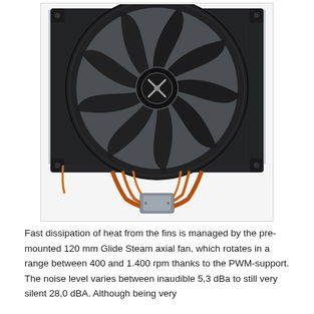[Figure (photo): Top view of a Scythe CPU cooler with a large 120mm Glide Steam axial fan mounted on heatsink fins, with copper heat pipes visible at the bottom. The fan has black blades and a black frame with the Scythe logo on the center hub.]
Fast dissipation of heat from the fins is managed by the pre-mounted 120 mm Glide Steam axial fan, which rotates in a range between 400 and 1.400 rpm thanks to the PWM-support. The noise level varies between inaudible 5,3 dBa to still very silent 28,0 dBA. Although being very